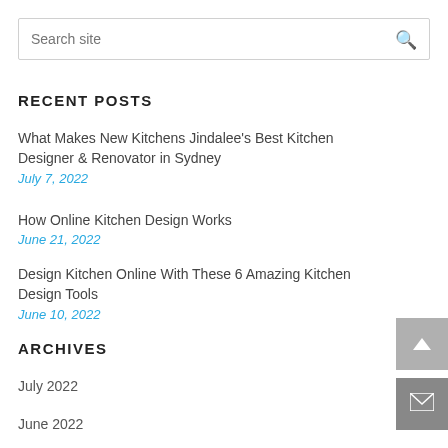Search site
RECENT POSTS
What Makes New Kitchens Jindalee's Best Kitchen Designer & Renovator in Sydney
July 7, 2022
How Online Kitchen Design Works
June 21, 2022
Design Kitchen Online With These 6 Amazing Kitchen Design Tools
June 10, 2022
ARCHIVES
July 2022
June 2022